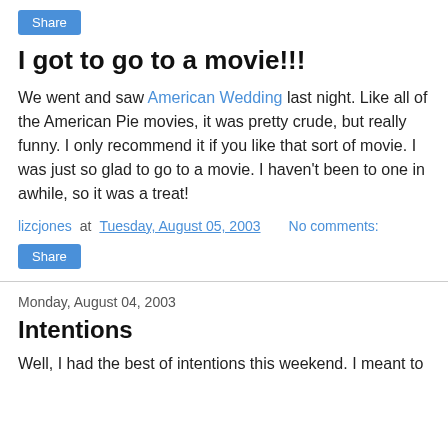[Figure (other): Share button (blue button with white text 'Share')]
I got to go to a movie!!!
We went and saw American Wedding last night. Like all of the American Pie movies, it was pretty crude, but really funny. I only recommend it if you like that sort of movie. I was just so glad to go to a movie. I haven't been to one in awhile, so it was a treat!
lizcjones at Tuesday, August 05, 2003   No comments:
[Figure (other): Share button (blue button with white text 'Share')]
Monday, August 04, 2003
Intentions
Well, I had the best of intentions this weekend. I meant to